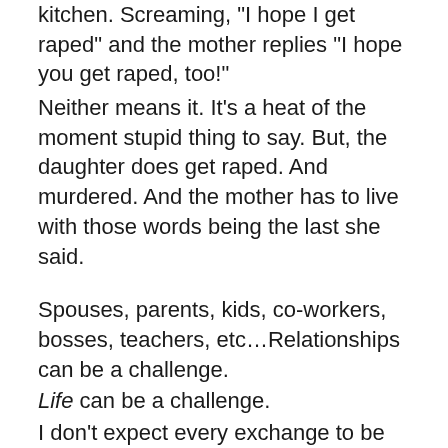kitchen. Screaming, "I hope I get raped" and the mother replies "I hope you get raped, too!"
Neither means it. It's a heat of the moment stupid thing to say. But, the daughter does get raped. And murdered. And the mother has to live with those words being the last she said.
Spouses, parents, kids, co-workers, bosses, teachers, etc…Relationships can be a challenge.
Life can be a challenge.
I don't expect every exchange to be sunshine and roses.
Every parting to be overflowing with I love you's.
But we need to practice not being so angry all the time.
Can we do that?
Can we try?
I don't want you to live each day as if it's your last– nobody's needs the additional stress of that hanging over